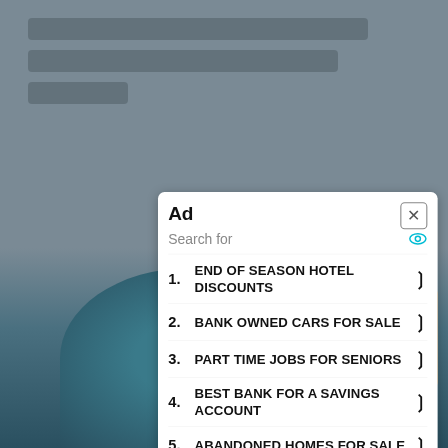[Figure (screenshot): Blurred webpage background with text and a person image]
Ad
Search for
1. END OF SEASON HOTEL DISCOUNTS
2. BANK OWNED CARS FOR SALE
3. PART TIME JOBS FOR SENIORS
4. BEST BANK FOR A SAVINGS ACCOUNT
5. ABANDONED HOMES FOR SALE
Ad | Business Focus